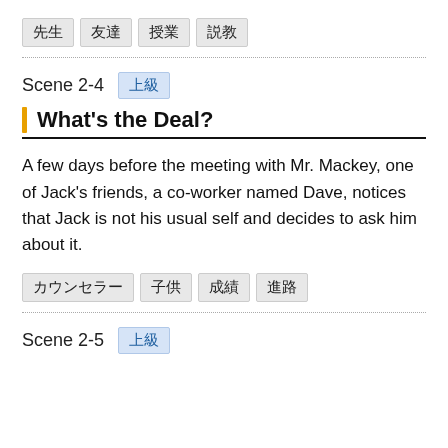先生　友達　授業　説教
Scene 2-4　上級
What's the Deal?
A few days before the meeting with Mr. Mackey, one of Jack's friends, a co-worker named Dave, notices that Jack is not his usual self and decides to ask him about it.
カウンセラー　子供　成績　進路
Scene 2-5　上級